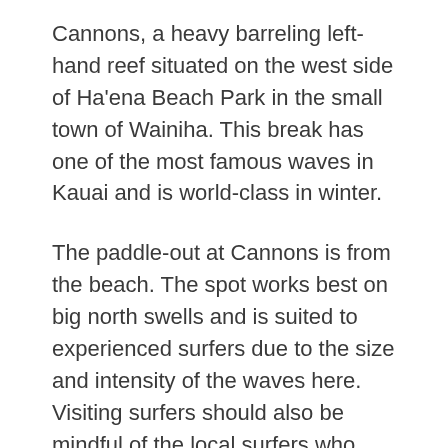Cannons, a heavy barreling left-hand reef situated on the west side of Ha'ena Beach Park in the small town of Wainiha. This break has one of the most famous waves in Kauai and is world-class in winter.
The paddle-out at Cannons is from the beach. The spot works best on big north swells and is suited to experienced surfers due to the size and intensity of the waves here. Visiting surfers should also be mindful of the local surfers who dominate Cannons.
Tunnels
Tunnels is a surf break on the east side of Ha'ena Beach Park, which is probably even more famous than Cannons. Tunnels is a big, hollow right-hand point break outside the barrier reef at the top of